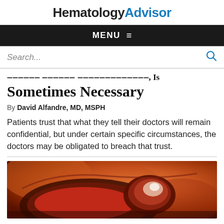HematologyAdvisor
MENU
Search...
...Violating Patient Confidentiality Is Sometimes Necessary
By David Alfandre, MD, MSPH
Patients trust that what they tell their doctors will remain confidential, but under certain specific circumstances, the doctors may be obligated to breach that trust.
[Figure (illustration): Close-up medical illustration of a blood vessel cross-section showing a clot or plaque formation inside an artery, rendered in orange, red, and dark tones.]